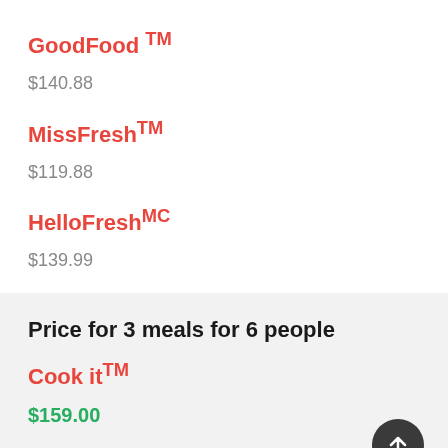GoodFood TM
$140.88
MissFreshTM
$119.88
HelloFreshMC
$139.99
Price for 3 meals for 6 people
Cook it TM
$159.00
Chefs Plate TM